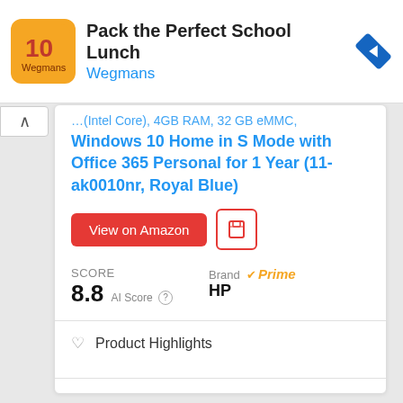[Figure (screenshot): Ad banner for Wegmans 'Pack the Perfect School Lunch' with orange logo icon and blue navigation diamond icon on the right]
Windows 10 Home in S Mode with Office 365 Personal for 1 Year (11-ak0010nr, Royal Blue)
View on Amazon
SCORE
8.8 AI Score
Brand
Prime
HP
Product Highlights
Customer Reviews